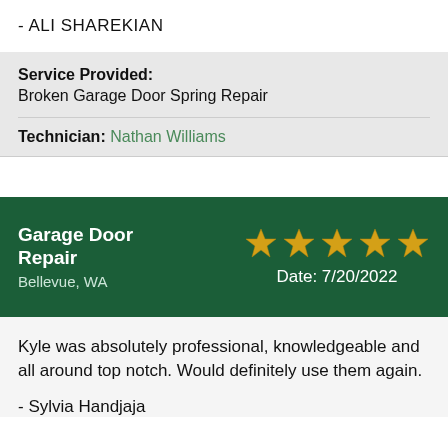- ALI SHAREKIAN
Service Provided: Broken Garage Door Spring Repair
Technician: Nathan Williams
Garage Door Repair Bellevue, WA ★★★★★ Date: 7/20/2022
Kyle was absolutely professional, knowledgeable and all around top notch. Would definitely use them again.
- Sylvia Handjaja